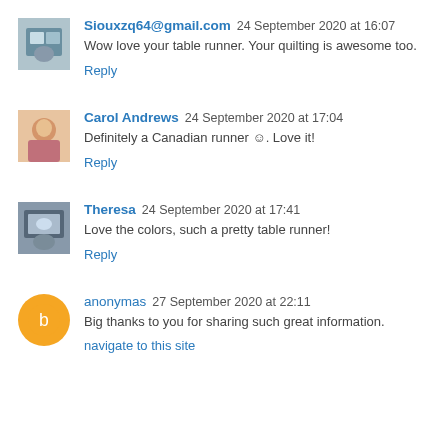Siouxzq64@gmail.com 24 September 2020 at 16:07
Wow love your table runner. Your quilting is awesome too.
Reply
Carol Andrews 24 September 2020 at 17:04
Definitely a Canadian runner ☺. Love it!
Reply
Theresa 24 September 2020 at 17:41
Love the colors, such a pretty table runner!
Reply
anonymas 27 September 2020 at 22:11
Big thanks to you for sharing such great information.
navigate to this site